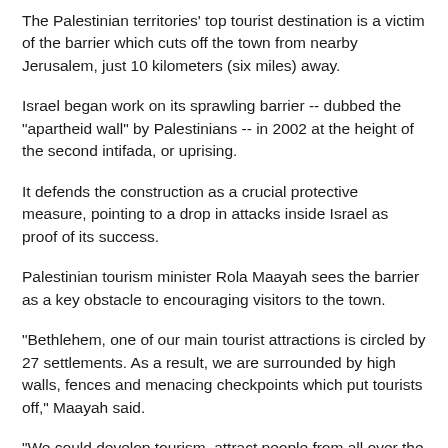The Palestinian territories' top tourist destination is a victim of the barrier which cuts off the town from nearby Jerusalem, just 10 kilometers (six miles) away.
Israel began work on its sprawling barrier -- dubbed the "apartheid wall" by Palestinians -- in 2002 at the height of the second intifada, or uprising.
It defends the construction as a crucial protective measure, pointing to a drop in attacks inside Israel as proof of its success.
Palestinian tourism minister Rola Maayah sees the barrier as a key obstacle to encouraging visitors to the town.
"Bethlehem, one of our main tourist attractions is circled by 27 settlements. As a result, we are surrounded by high walls, fences and menacing checkpoints which put tourists off," Maayah said.
"We could develop tourism, attract people from all over the world, but it's not possible because of the Israeli occupation," she added.